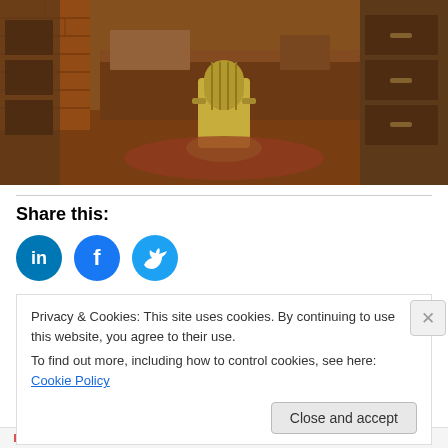[Figure (photo): Vintage office scene with an antique wooden desk, old swivel chair upholstered in green/yellow fabric, filing cabinets, and brick walls in warm brown/sepia tones.]
Share this:
[Figure (infographic): Three circular social media share buttons: LinkedIn (blue with 'in' logo), Facebook (blue with 'f' logo), Twitter (light blue with bird logo).]
Privacy & Cookies: This site uses cookies. By continuing to use this website, you agree to their use.
To find out more, including how to control cookies, see here: Cookie Policy
Close and accept